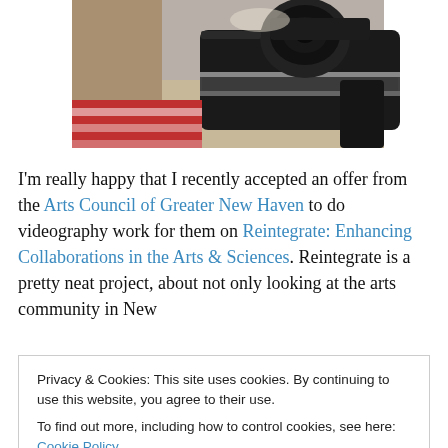[Figure (photo): A camera bag or camera with accessories, placed on a red and white patterned cloth surface with gray/brown fabric nearby, photographed from above.]
I'm really happy that I recently accepted an offer from the Arts Council of Greater New Haven to do videography work for them on Reintegrate: Enhancing Collaborations in the Arts & Sciences. Reintegrate is a pretty neat project, about not only looking at the arts community in New
Privacy & Cookies: This site uses cookies. By continuing to use this website, you agree to their use.
To find out more, including how to control cookies, see here: Cookie Policy
celebrates and showcases the region's creativity in both